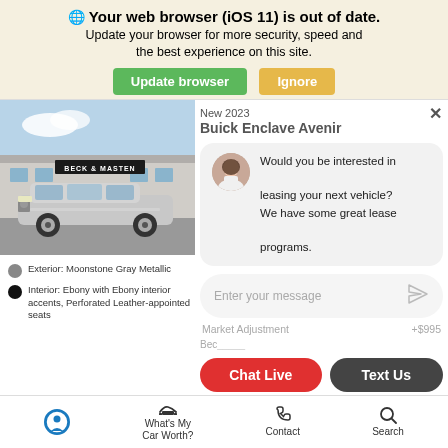Your web browser (iOS 11) is out of date.
Update your browser for more security, speed and the best experience on this site.
Update browser | Ignore
[Figure (photo): Photo of a 2023 Buick Enclave Avenir silver SUV parked in front of a Beck & Masten dealership]
New 2023
Buick Enclave Avenir
Would you be interested in leasing your next vehicle? We have some great lease programs.
Enter your message
Market Adjustment  +$995
Exterior: Moonstone Gray Metallic
Interior: Ebony with Ebony interior accents, Perforated Leather-appointed seats
Chat Live  Text Us
What's My Car Worth?
Contact
Search